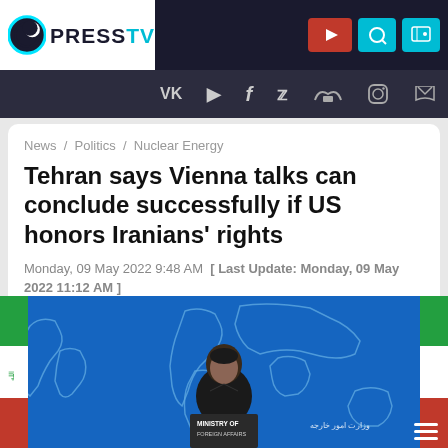[Figure (logo): Press TV logo - circular icon with teal ring and dark background, followed by PRESSTV text]
PRESSTV - Navigation bar with social media icons: VK, D, f, Twitter, SoundCloud, Instagram, RSS
News / Politics / Nuclear Energy
Tehran says Vienna talks can conclude successfully if US honors Iranians' rights
Monday, 09 May 2022 9:48 AM [ Last Update: Monday, 09 May 2022 11:12 AM ]
[Figure (photo): Man in suit standing at podium in front of a blue backdrop with a world map outline. Text on podium reads 'MINISTRY OF FOREIGN AFFAIRS'. Iranian flags visible on both sides.]